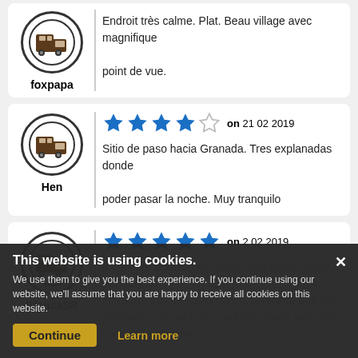foxpapa — Endroit très calme. Plat. Beau village avec magnifique point de vue.
Hen — 4 stars on 21 02 2019 — Sitio de paso hacia Granada. Tres explanadas donde poder pasar la noche. Muy tranquilo
BlancaSR — 5 stars on 2 02 2019 — Excelente sitio!!! Unas vistas fantástica, súper tranquilo y ... tranquila este ... Además tiene todos los servicios y gratuitos.
Cookie banner: This website is using cookies. We use them to give you the best experience. If you continue using our website, we'll assume that you are happy to receive all cookies on this website. Continue | Learn more